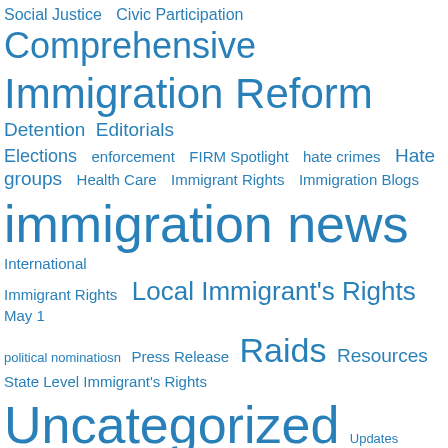[Figure (infographic): Tag cloud with immigration-related topics in varying font sizes, all in blue. Terms include: Social Justice, Civic Participation, Comprehensive Immigration Reform, Detention, Editorials, Elections, enforcement, FIRM Spotlight, hate crimes, Hate groups, Health Care, Immigrant Rights, Immigration Blogs, immigration news, International Immigrant Rights, Local Immigrant's Rights, May 1, political nominatiosn, Press Release, Raids, Resources, State Level Immigrant's Rights, Uncategorized, Updates, Worker's Rights, Youth]